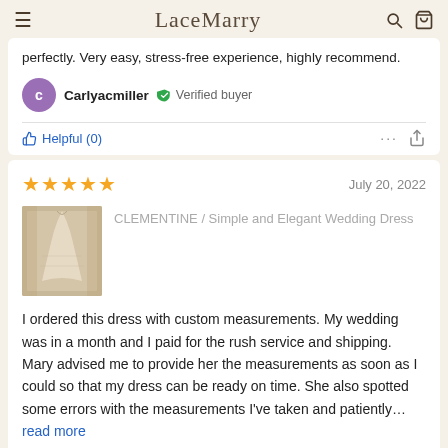Lace Marry
perfectly. Very easy, stress-free experience, highly recommend.
Carlyacmiller   Verified buyer
Helpful (0)
July 20, 2022
CLEMENTINE / Simple and Elegant Wedding Dress
I ordered this dress with custom measurements. My wedding was in a month and I paid for the rush service and shipping. Mary advised me to provide her the measurements as soon as I could so that my dress can be ready on time. She also spotted some errors with the measurements I've taken and patiently... read more